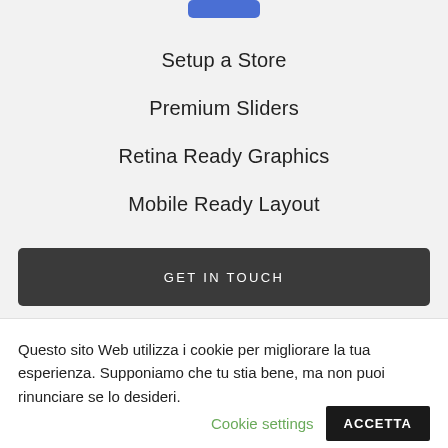[Figure (other): Blue rounded button/shape at the top of the page]
Setup a Store
Premium Sliders
Retina Ready Graphics
Mobile Ready Layout
GET IN TOUCH
Questo sito Web utilizza i cookie per migliorare la tua esperienza. Supponiamo che tu stia bene, ma non puoi rinunciare se lo desideri.
Cookie settings
ACCETTA